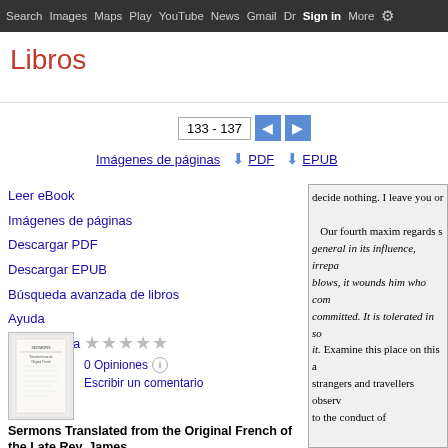Search  Images  Maps  Play  YouTube  News  Gmail  Dr  Sign in  More  ⚙
Libros
133 - 137
Imágenes de páginas   ⬇ PDF   ⬇ EPUB
Leer eBook
Imágenes de páginas
Descargar PDF
Descargar EPUB
Búsqueda avanzada de libros
Ayuda
Mi biblioteca
[Figure (illustration): Book cover thumbnail for 'Sermons Translated from the Original French of the Late Rev. James']
★★★★★ 0 Opiniones ⓘ Escribir un comentario
Sermons Translated from the Original French of the Late Rev. James ...,
decide nothing. I leave you on Our fourth maxim regards s general in its influence, irrepa blows, it wounds him who com committed. It is tolerated in so it. Examine this place on this a strangers and travellers observ to the conduct of your neighbors, and always as are his opinions? Have you no publish some vices, which cha calumnies added? Are not the families, magistrates and mini another with criminal intrigue